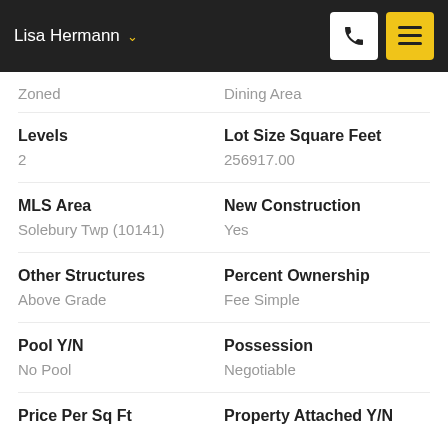Lisa Hermann
Zoned
Dining Area
Levels
2
Lot Size Square Feet
256917.00
MLS Area
Solebury Twp (10141)
New Construction
Yes
Other Structures
Above Grade
Percent Ownership
Fee Simple
Pool Y/N
No Pool
Possession
Negotiable
Price Per Sq Ft
Property Attached Y/N